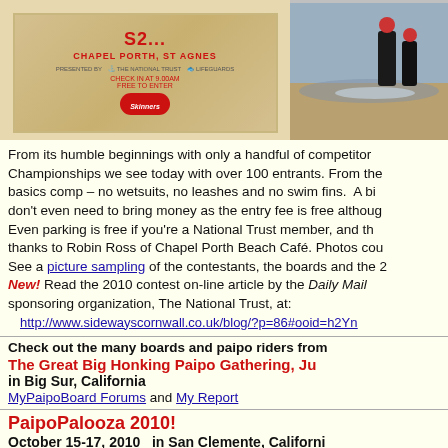[Figure (photo): Event flyer/poster for a paipo surfing championship at Chapel Porth, St Agnes, with National Trust and Lifeguards sponsorship. Wooden textured background with red text.]
[Figure (photo): Photo of two people running on a beach into the surf.]
From its humble beginnings with only a handful of competitors, Championships we see today with over 100 entrants. From the basics comp – no wetsuits, no leashes and no swim fins.  A bi don't even need to bring money as the entry fee is free althoug Even parking is free if you're a National Trust member, and th thanks to Robin Ross of Chapel Porth Beach Café. Photos cou See a picture sampling of the contestants, the boards and the 2 New! Read the 2010 contest on-line article by the Daily Mail and sponsoring organization, The National Trust, at:
  http://www.sidewayscornwall.co.uk/blog/?p=86#ooid=h2Yn
Check out the many boards and paipo riders from
The Great Big Honking Paipo Gathering, Ju in Big Sur, California
MyPaipoBoard Forums and My Report
PaipoPalooza 2010!
October 15-17, 2010   in San Clemente, Californi